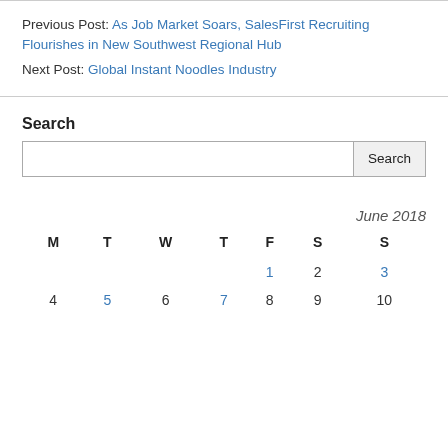Previous Post: As Job Market Soars, SalesFirst Recruiting Flourishes in New Southwest Regional Hub
Next Post: Global Instant Noodles Industry
Search
June 2018
| M | T | W | T | F | S | S |
| --- | --- | --- | --- | --- | --- | --- |
|  |  |  |  | 1 | 2 | 3 |
| 4 | 5 | 6 | 7 | 8 | 9 | 10 |